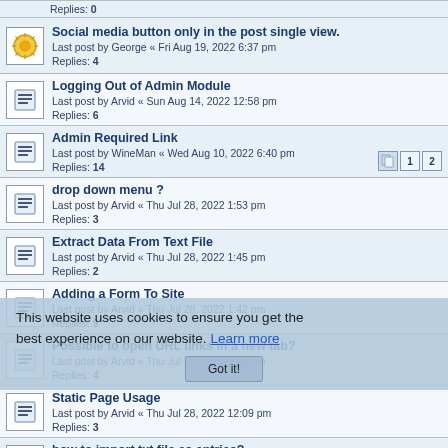Social media button only in the post single view.
Last post by George « Fri Aug 19, 2022 6:37 pm
Replies: 4
Logging Out of Admin Module
Last post by Arvid « Sun Aug 14, 2022 12:58 pm
Replies: 6
Admin Required Link
Last post by WineMan « Wed Aug 10, 2022 6:40 pm
Replies: 14
drop down menu ?
Last post by Arvid « Thu Jul 28, 2022 1:53 pm
Replies: 3
Extract Data From Text File
Last post by Arvid « Thu Jul 28, 2022 1:45 pm
Replies: 2
Adding a Form To Site
Last post by Arvid « Thu Jul 28, 2022 1:42 pm
Replies: 9
Possible to open URL links in a new tab?
Last post by Arvid « Thu Jul 28, 2022 1:40 pm
Replies: 4
Static Page Usage
Last post by Arvid « Thu Jul 28, 2022 12:09 pm
Replies: 3
how to import txt file as entries?
Last post by Arvid « Wed Jul 27, 2022 12:39 pm
Replies: 1
Plugin Aksimet and Comment Center
Last post by fraenkiman « Sun Jul 24, 2022 11:04 pm